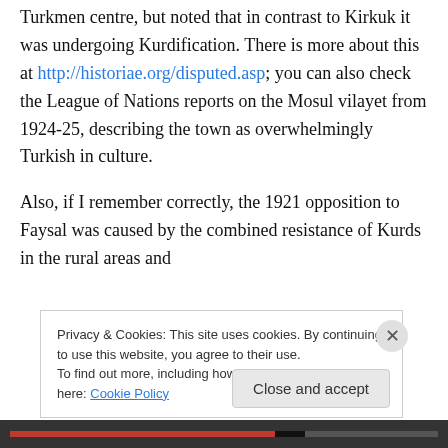Turkmen centre, but noted that in contrast to Kirkuk it was undergoing Kurdification. There is more about this at http://historiae.org/disputed.asp; you can also check the League of Nations reports on the Mosul vilayet from 1924-25, describing the town as overwhelmingly Turkish in culture.

Also, if I remember correctly, the 1921 opposition to Faysal was caused by the combined resistance of Kurds in the rural areas and
Privacy & Cookies: This site uses cookies. By continuing to use this website, you agree to their use.
To find out more, including how to control cookies, see here: Cookie Policy
Close and accept